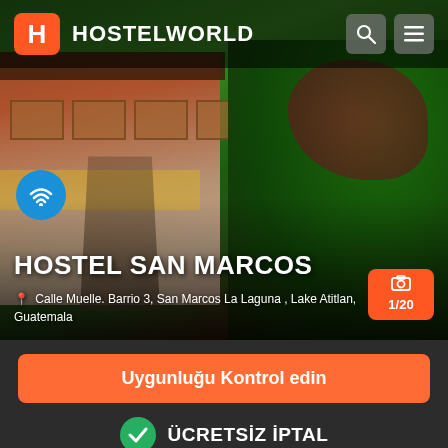HOSTELWORLD
[Figure (photo): Hostel San Marcos courtyard with colorful painted walls (red, yellow, pink), wooden beam roof, stone pathway, and lush tropical green plants on the right side]
HOSTEL SAN MARCOS
Calle Muelle. Barrio 3, San Marcos La Laguna , Lake Atitlan, Guatemala
Uygunluğu Kontrol edin
ÜCRETSİZ İPTAL